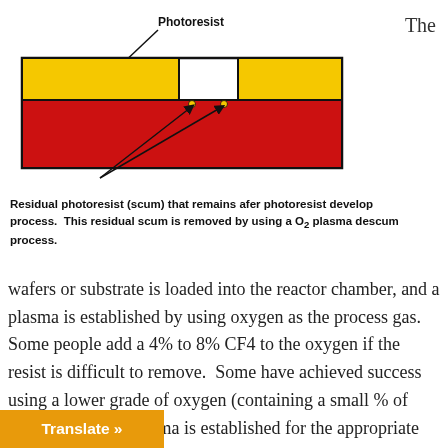[Figure (schematic): Cross-section diagram showing photoresist layer (yellow rectangles) on top of a substrate layer (red rectangle), with residual photoresist scum visible between the patterned areas. A label arrow points from 'Photoresist' to the yellow layer.]
Residual photoresist (scum) that remains afer photoresist develop process. This residual scum is removed by using a O2 plasma descum process.
The wafers or substrate is loaded into the reactor chamber, and a plasma is established by using oxygen as the process gas. Some people add a 4% to 8% CF4 to the oxygen if the resist is difficult to remove. Some have achieved success using a lower grade of oxygen (containing a small % of water vapor). A plasma is established for the appropriate time, usually about 30 seconds to minute–and the system is vented to atmosphere ion of the process. After inspection,